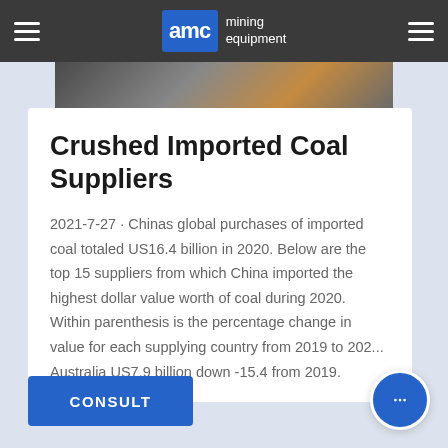AMC mining equipment
[Figure (photo): Dark photo of coal or mining material, partially visible as a strip at top of page]
Crushed Imported Coal Suppliers
2021-7-27 · Chinas global purchases of imported coal totaled US16.4 billion in 2020. Below are the top 15 suppliers from which China imported the highest dollar value worth of coal during 2020. Within parenthesis is the percentage change in value for each supplying country from 2019 to 202... Australia US7.9 billion down -15.4 from 2019.